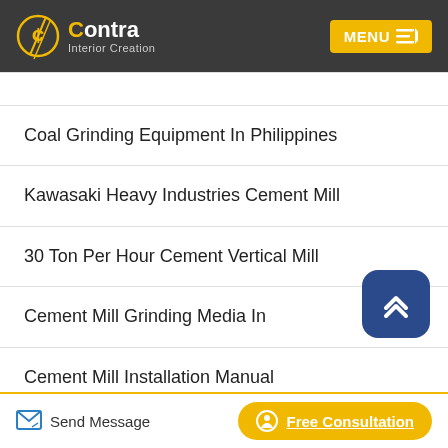Contra Interior Creation — MENU
Coal Grinding Equipment In Philippines
Kawasaki Heavy Industries Cement Mill
30 Ton Per Hour Cement Vertical Mill
Cement Mill Grinding Media In
Cement Mill Installation Manual
Send Message | Free Consultation